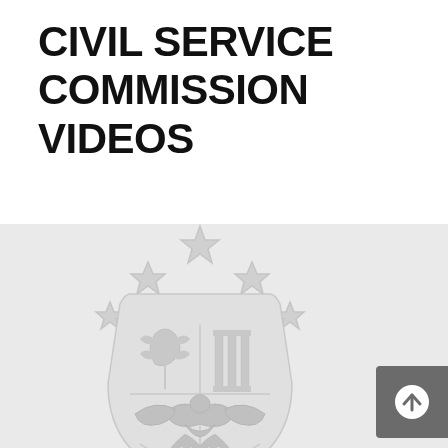CIVIL SERVICE COMMISSION VIDEOS
[Figure (logo): Large watermark-style government seal/coat of arms with stars, shield, eagle, and decorative elements rendered in light gray on a light gray background]